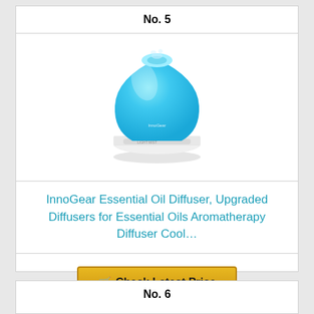No. 5
[Figure (photo): InnoGear Essential Oil Diffuser product photo showing a teardrop-shaped diffuser glowing in cyan/light blue color with a white base]
InnoGear Essential Oil Diffuser, Upgraded Diffusers for Essential Oils Aromatherapy Diffuser Cool…
Check Latest Price
No. 6